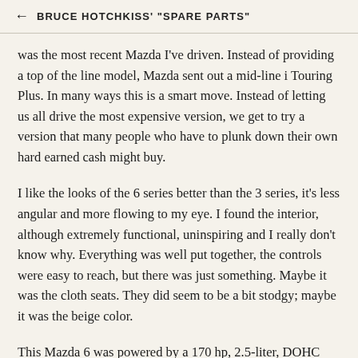← BRUCE HOTCHKISS' "SPARE PARTS"
was the most recent Mazda I've driven. Instead of providing a top of the line model, Mazda sent out a mid-line i Touring Plus. In many ways this is a smart move. Instead of letting us all drive the most expensive version, we get to try a version that many people who have to plunk down their own hard earned cash might buy.
I like the looks of the 6 series better than the 3 series, it's less angular and more flowing to my eye. I found the interior, although extremely functional, uninspiring and I really don't know why. Everything was well put together, the controls were easy to reach, but there was just something. Maybe it was the cloth seats. They did seem to be a bit stodgy; maybe it was the beige color.
This Mazda 6 was powered by a 170 hp, 2.5-liter, DOHC four cylinder and was coupled to a 5-speed automatic